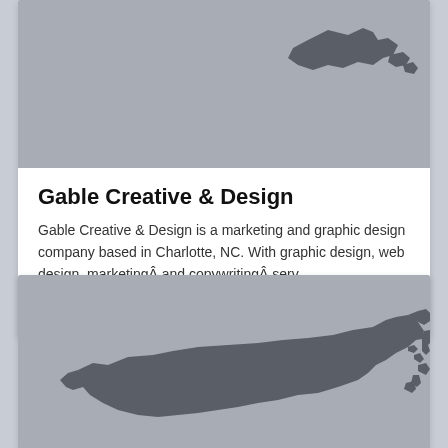[Figure (illustration): Gray placeholder image showing a partial North Carolina state silhouette in darker gray, top portion of card 1]
Gable Creative & Design
Gable Creative & Design is a marketing and graphic design company based in Charlotte, NC. With graphic design, web design, marketingÂ and copywritingÂ serv...
CHARLOTTE, NC
+3
[Figure (map): Gray placeholder image showing North Carolina and part of Maryland state silhouette in darker gray, top portion of card 2]